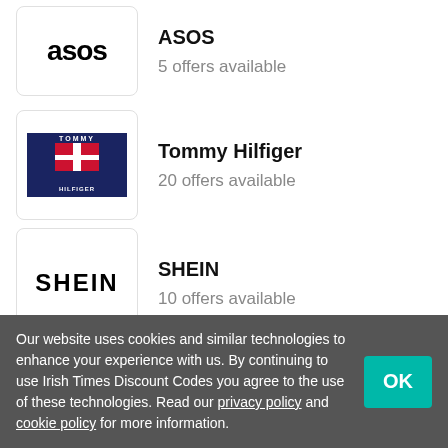ASOS – 5 offers available
Tommy Hilfiger – 20 offers available
SHEIN – 10 offers available
Sweaty Betty – 23 offers available
McGuirks
Our website uses cookies and similar technologies to enhance your experience with us. By continuing to use Irish Times Discount Codes you agree to the use of these technologies. Read our privacy policy and cookie policy for more information.